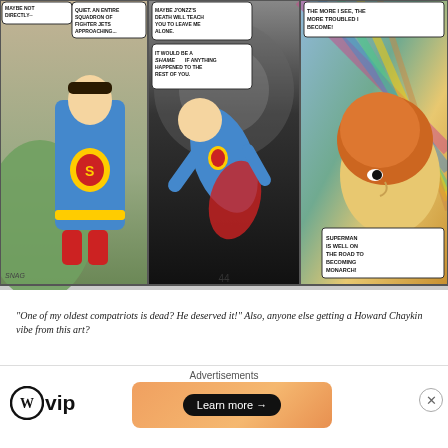[Figure (illustration): Three comic book panels numbered page 44. Panel 1: Superman looking up with speech bubble 'MAYBE NOT DIRECTLY--' and another bubble 'QUIET. AN ENTIRE SQUADRON OF FIGHTER JETS APPROACHING...'. Panel 2: Superman flying/diving through dark background with speech bubbles 'MAYBE J'ONZZ'S DEATH WILL TEACH YOU TO LEAVE ME ALONE.' and 'IT WOULD BE A SHAME IF ANYTHING HAPPENED TO THE REST OF YOU.' Panel 3: Close-up of a character with orange/yellow skin and fiery hair, with caption box 'THE MORE I SEE, THE MORE TROUBLED I BECOME!' and bottom box 'SUPERMAN IS WELL ON THE ROAD TO BECOMING MONARCH!']
"One of my oldest compatriots is dead? He deserved it!" Also, anyone else getting a Howard Chaykin vibe from this art?
Waverider and Monarch are two bits of the story that were added to the canon of the DCU. You may have heard that Mo...
[Figure (infographic): Advertisement bar: WordPress VIP logo on left, orange gradient banner with 'Learn more →' button on right, 'Advertisements' label at top center, close X button on far right.]